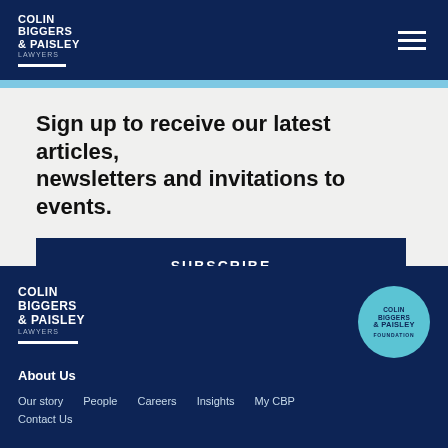COLIN BIGGERS & PAISLEY LAWYERS
Sign up to receive our latest articles, newsletters and invitations to events.
SUBSCRIBE
[Figure (logo): Colin Biggers & Paisley Lawyers footer logo with white underline]
[Figure (logo): Colin Biggers & Paisley Foundation circular teal badge]
About Us
Our story
People
Careers
Insights
My CBP
Contact Us